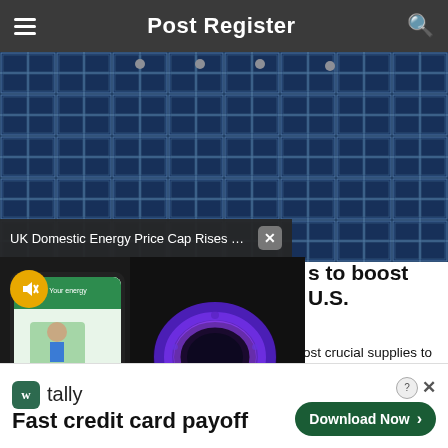Post Register
[Figure (photo): Aerial view of solar panels, blue photovoltaic cells in rows with mounting hardware]
UK Domestic Energy Price Cap Rises 178...
[Figure (photo): Inline video popup showing a phone displaying 'Your latest energy bill' and a gas burner flame]
s to boost U.S.
iden ordered emergency measures Monday to boost crucial supplies to U.S. and energy future needed by the country
[Figure (other): Advertisement banner: Tally app - Fast credit card payoff with Download Now button]